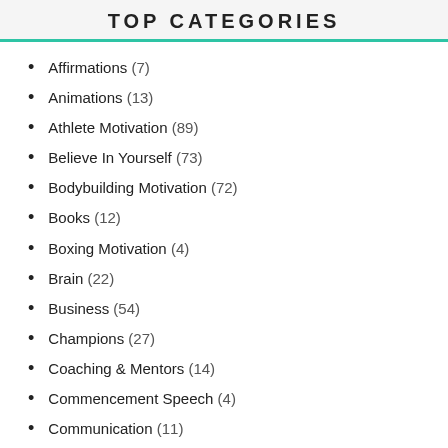TOP CATEGORIES
Affirmations (7)
Animations (13)
Athlete Motivation (89)
Believe In Yourself (73)
Bodybuilding Motivation (72)
Books (12)
Boxing Motivation (4)
Brain (22)
Business (54)
Champions (27)
Coaching & Mentors (14)
Commencement Speech (4)
Communication (11)
Comparison (1)
Confidence (28)
Crossfit Motivation (18)
Depression, Anxiety, Stress (30)
Distraction & Focus (32)
Energy (10)